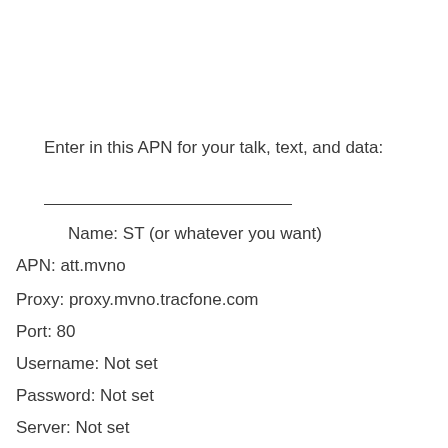Enter in this APN for your talk, text, and data:
Name: ST (or whatever you want)
APN: att.mvno
Proxy: proxy.mvno.tracfone.com
Port: 80
Username: Not set
Password: Not set
Server: Not set
MMSC: http: mmsc. cingular. com (**no spaces and no"//**")